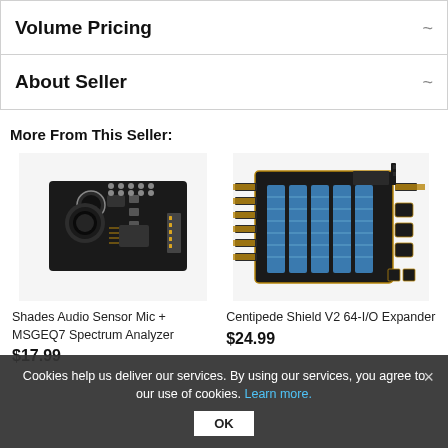Volume Pricing
About Seller
More From This Seller:
[Figure (photo): Shades Audio Sensor Mic + MSGEQ7 Spectrum Analyzer circuit board with microphone]
Shades Audio Sensor Mic + MSGEQ7 Spectrum Analyzer
$17.99
[Figure (photo): Centipede Shield V2 64-I/O Expander circuit board with pin headers]
Centipede Shield V2 64-I/O Expander
$24.99
Cookies help us deliver our services. By using our services, you agree to our use of cookies. Learn more.